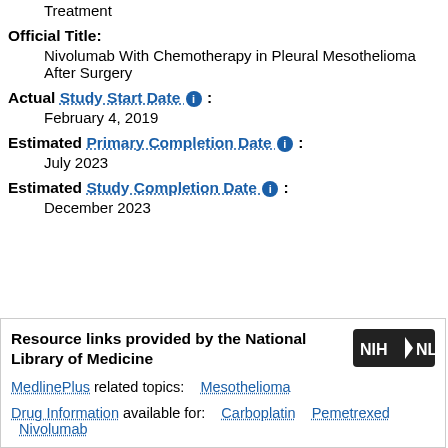Treatment
Official Title:
Nivolumab With Chemotherapy in Pleural Mesothelioma After Surgery
Actual Study Start Date :
February 4, 2019
Estimated Primary Completion Date :
July 2023
Estimated Study Completion Date :
December 2023
Resource links provided by the National Library of Medicine
MedlinePlus related topics: Mesothelioma
Drug Information available for: Carboplatin  Pemetrexed  Nivolumab